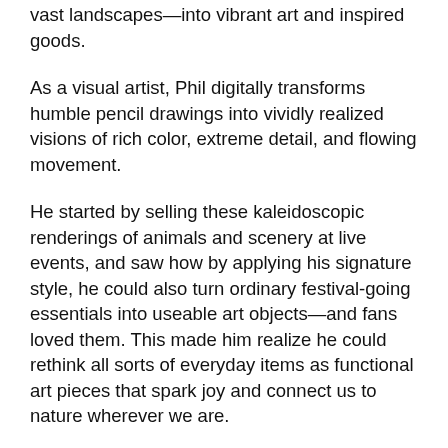vast landscapes—into vibrant art and inspired goods.
As a visual artist, Phil digitally transforms humble pencil drawings into vividly realized visions of rich color, extreme detail, and flowing movement.
He started by selling these kaleidoscopic renderings of animals and scenery at live events, and saw how by applying his signature style, he could also turn ordinary festival-going essentials into useable art objects—and fans loved them. This made him realize he could rethink all sorts of everyday items as functional art pieces that spark joy and connect us to nature wherever we are.
Now, he's expanded the possibilities even further with advanced materials and techniques that allow Phil to apply luminous designs to innovative mediums, so we can share in the collective vibration